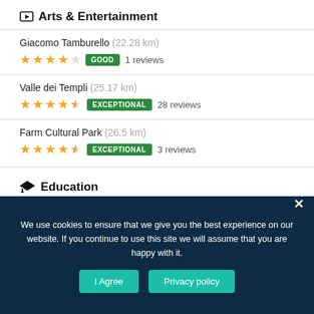Arts & Entertainment
Giacomo Tamburello (22.28 km) ★★★★☆ GOOD 1 reviews
Valle dei Templi (25.17 km) ★★★★½ EXCEPTIONAL 28 reviews
Farm Cultural Park (26.5 km) ★★★★½ EXCEPTIONAL 3 reviews
Education
We use cookies to ensure that we give you the best experience on our website. If you continue to use this site we will assume that you are happy with it.